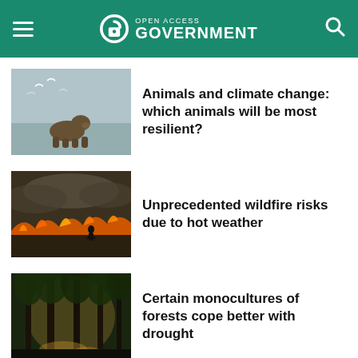Open Access Government
[Figure (photo): A bear walking on a beach with birds flying overhead in a cloudy sky]
Animals and climate change: which animals will be most resilient?
[Figure (photo): A wildfire burning through a field with flames and smoke, a person visible in the background]
Unprecedented wildfire risks due to hot weather
[Figure (photo): A forest of tall pine trees with sunlight filtering through the trunks]
Certain monocultures of forests cope better with drought
< >
LEAVE A REPLY